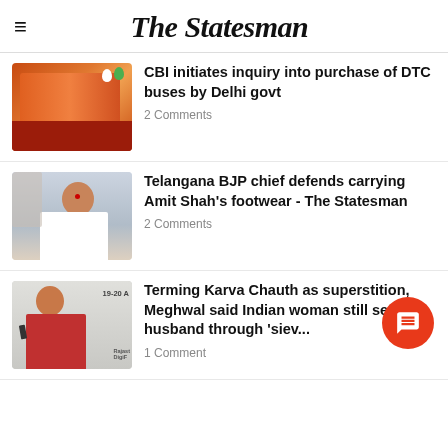The Statesman
CBI initiates inquiry into purchase of DTC buses by Delhi govt
2 Comments
Telangana BJP chief defends carrying Amit Shah's footwear - The Statesman
2 Comments
Terming Karva Chauth as superstition, Meghwal said Indian woman still sees husband through 'siev...
1 Comment